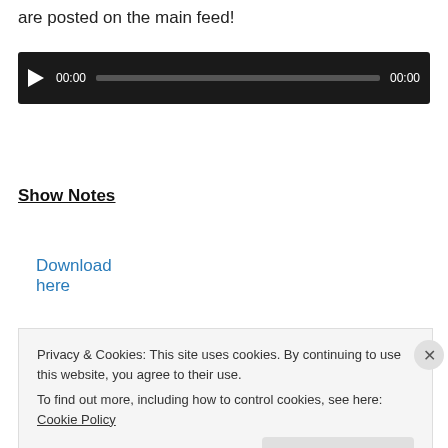are posted on the main feed!
[Figure (other): Audio player widget with dark background, play button, time display 00:00, progress bar, and end time 00:00]
Download here
Show Notes
Pick up Volume 25.
Comics On The Spot
Privacy & Cookies: This site uses cookies. By continuing to use this website, you agree to their use. To find out more, including how to control cookies, see here: Cookie Policy